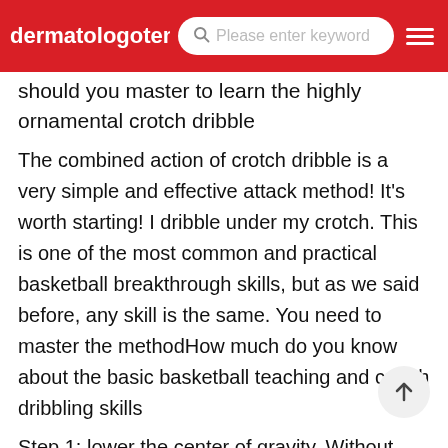dermatologotene | Please enter keyword
should you master to learn the highly ornamental crotch dribble
The combined action of crotch dribble is a very simple and effective attack method! It's worth starting! I dribble under my crotch. This is one of the most common and practical basketball breakthrough skills, but as we said before, any skill is the same. You need to master the methodHow much do you know about the basic basketball teaching and crotch dribbling skills
Step 1: lower the center of gravity. Without looking at the ball, first practice the right hand in situ dribble, and then practice the left hand in situ dribble. Step 2: use the power of the wrist to dribble left and right in front of the body. Similarly, dribble back and forth on one side of the body. It should be noted that when dribbling, the lower the center of gravity, the betterHow to dribble under the hip in basketball